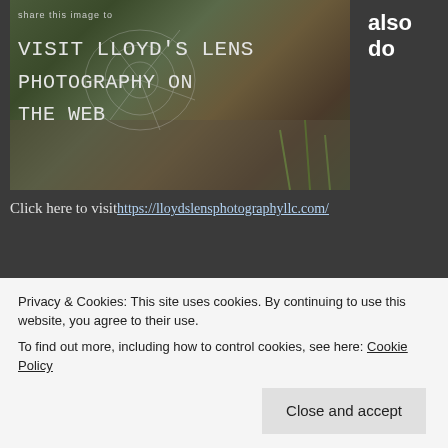[Figure (photo): Photograph showing a spider web with dew drops against a blurred outdoor background (gravel, grass, twigs). Overlaid text reads 'Share This Image To' and 'VISIT LLOYD'S LENS PHOTOGRAPHY ON THE WEB' in a handwritten/monospace style.]
Click here to visit https://lloydslensphotographyllc.com/
portraits by appointment? If you're interested in a portrait session either message me on Facebook or Use the Contact form. The YouTube link below takes you on...
Privacy & Cookies: This site uses cookies. By continuing to use this website, you agree to their use.
To find out more, including how to control cookies, see here: Cookie Policy
Close and accept
also do